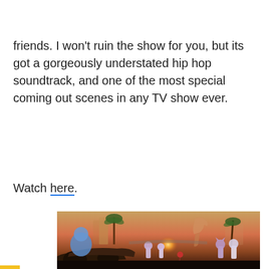friends. I won't ruin the show for you, but its got a gorgeously understated hip hop soundtrack, and one of the most special coming out scenes in any TV show ever.
Watch here.
[Figure (illustration): Animated scene showing cartoon characters standing near a wrecked car at sunset, with a large dinosaur statue and palm trees in the background. The sky is orange and pink from the sunset.]